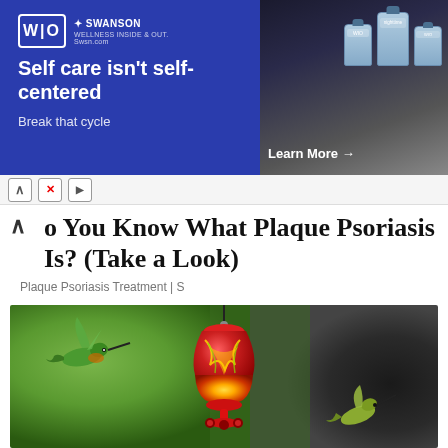[Figure (photo): Swanson WIO ad banner: dark blue background, logo on left, headline 'Self care isn't self-centered', subtext 'Break that cycle', product bottles on right, 'Learn More' button]
o You Know What Plaque Psoriasis Is? (Take a Look)
Plaque Psoriasis Treatment | S
[Figure (photo): A colorful red, yellow and green glass hummingbird feeder hanging from above, with two hummingbirds hovering nearby, green and dark blurred background]